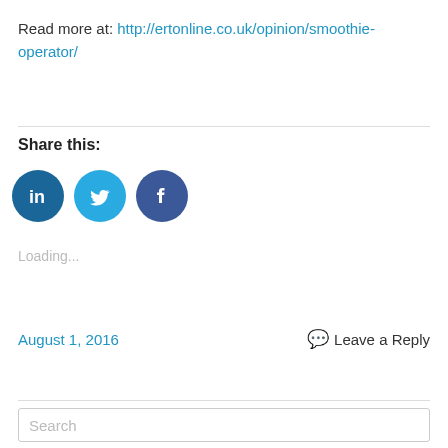Read more at: http://ertonline.co.uk/opinion/smoothie-operator/
Share this:
[Figure (other): Three social media sharing buttons: LinkedIn (dark blue circle), Twitter (light blue circle), Facebook (dark blue circle)]
Loading...
August 1, 2016    Leave a Reply
Search